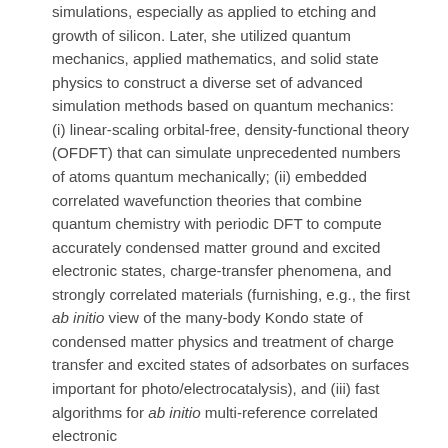simulations, especially as applied to etching and growth of silicon. Later, she utilized quantum mechanics, applied mathematics, and solid state physics to construct a diverse set of advanced simulation methods based on quantum mechanics: (i) linear-scaling orbital-free, density-functional theory (OFDFT) that can simulate unprecedented numbers of atoms quantum mechanically; (ii) embedded correlated wavefunction theories that combine quantum chemistry with periodic DFT to compute accurately condensed matter ground and excited electronic states, charge-transfer phenomena, and strongly correlated materials (furnishing, e.g., the first ab initio view of the many-body Kondo state of condensed matter physics and treatment of charge transfer and excited states of adsorbates on surfaces important for photo/electrocatalysis), and (iii) fast algorithms for ab initio multi-reference correlated electronic